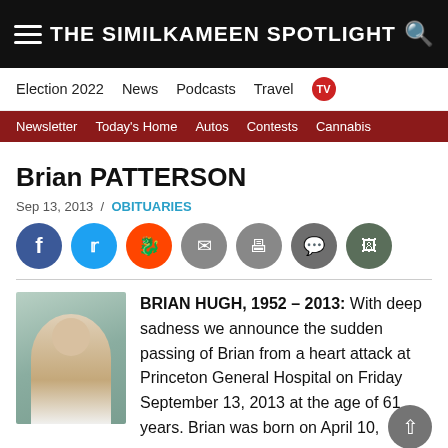THE SIMILKAMEEN SPOTLIGHT
Election 2022   News   Podcasts   Travel   TV
Newsletter   Today's Home   Autos   Contests   Cannabis
Brian PATTERSON
Sep 13, 2013  /  OBITUARIES
[Figure (photo): Photo of Brian Patterson, a man seated at a table outdoors.]
BRIAN HUGH, 1952 – 2013: With deep sadness we announce the sudden passing of Brian from a heart attack at Princeton General Hospital on Friday September 13, 2013 at the age of 61 years. Brian was born on April 10, 1952 in Belfast, Northern Ireland to parents Hugh and Dinah